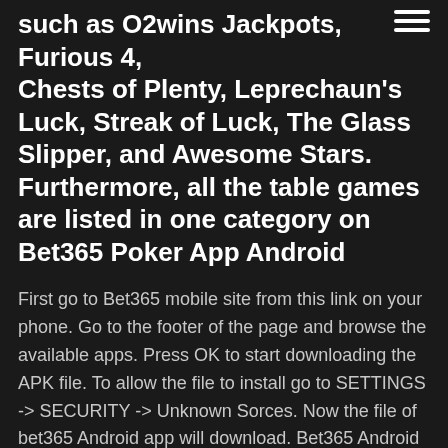such as O2wins Jackpots, Furious 4, Chests of Plenty, Leprechaun's Luck, Streak of Luck, The Glass Slipper, and Awesome Stars. Furthermore, all the table games are listed in one category on Bet365 Poker App Android
First go to Bet365 mobile site from this link on your phone. Go to the footer of the page and browse the available apps. Press OK to start downloading the APK file. To allow the file to install go to SETTINGS -> SECURITY -> Unknown Sorces. Now the file of bet365 Android app will download. Bet365 Android app has been created and enhanced to provide sleek mobile betting. You can operate it on all kinds of mobile gadgets with Android, including phones and tablets. The Mobile App. The bet365 mobile app is among the most